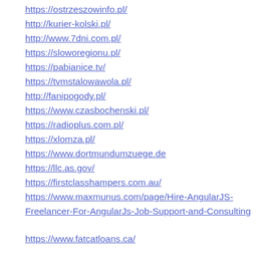https://ostrzeszowinfo.pl/
http://kurier-kolski.pl/
http://www.7dni.com.pl/
https://sloworegionu.pl/
https://pabianice.tv/
https://tvmstalowawola.pl/
http://fanipogody.pl/
https://www.czasbochenski.pl/
https://radioplus.com.pl/
https://xlomza.pl/
https://www.dortmundumzuege.de
https://llc.as.gov/
https://firstclasshampers.com.au/
https://www.maxmunus.com/page/Hire-AngularJS-Freelancer-For-AngularJs-Job-Support-and-Consulting
https://www.fatcatloans.ca/